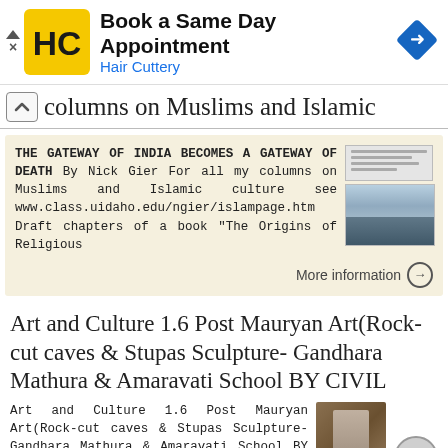[Figure (screenshot): Hair Cuttery advertisement banner with logo (HC in yellow square), text 'Book a Same Day Appointment / Hair Cuttery', and a blue diamond navigation icon on the right]
columns on Muslims and Islamic
THE GATEWAY OF INDIA BECOMES A GATEWAY OF DEATH By Nick Gier For all my columns on Muslims and Islamic culture see www.class.uidaho.edu/ngier/islampage.htm Draft chapters of a book "The Origins of Religious
More information →
Art and Culture 1.6 Post Mauryan Art(Rock-cut caves & Stupas Sculpture- Gandhara Mathura & Amaravati School BY CIVIL
Art and Culture 1.6 Post Mauryan Art(Rock-cut caves & Stupas Sculpture- Gandhara Mathura & Amaravati School BY CIVIL